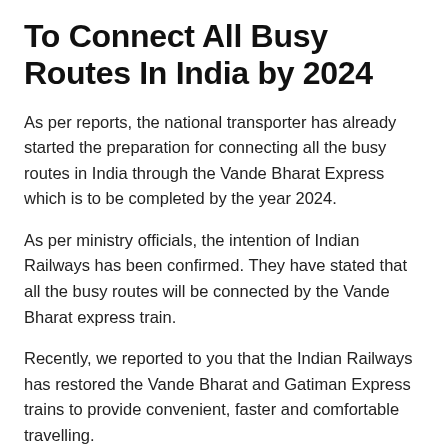To Connect All Busy Routes In India by 2024
As per reports, the national transporter has already started the preparation for connecting all the busy routes in India through the Vande Bharat Express which is to be completed by the year 2024.
As per ministry officials, the intention of Indian Railways has been confirmed. They have stated that all the busy routes will be connected by the Vande Bharat express train.
Recently, we reported to you that the Indian Railways has restored the Vande Bharat and Gatiman Express trains to provide convenient, faster and comfortable travelling.
Two Vande Bharat express trains are already running on the track of India, the first one from  Delhi to Varanasi, and the